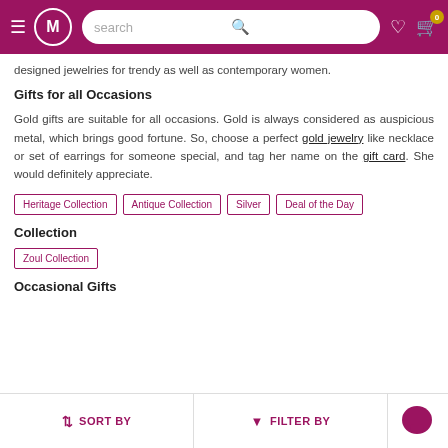M search 0
designed jewelries for trendy as well as contemporary women.
Gifts for all Occasions
Gold gifts are suitable for all occasions. Gold is always considered as auspicious metal, which brings good fortune. So, choose a perfect gold jewelry like necklace or set of earrings for someone special, and tag her name on the gift card. She would definitely appreciate.
Heritage Collection
Antique Collection
Silver
Deal of the Day
Collection
Zoul Collection
Occasional Gifts
SORT BY  FILTER BY